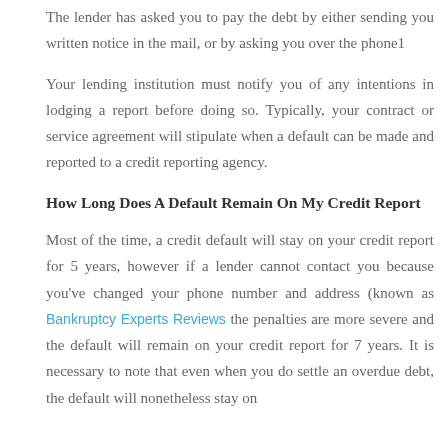The lender has asked you to pay the debt by either sending you written notice in the mail, or by asking you over the phone1
Your lending institution must notify you of any intentions in lodging a report before doing so. Typically, your contract or service agreement will stipulate when a default can be made and reported to a credit reporting agency.
How Long Does A Default Remain On My Credit Report
Most of the time, a credit default will stay on your credit report for 5 years, however if a lender cannot contact you because you've changed your phone number and address (known as clearout) the penalties are more severe and the default will remain on your credit report for 7 years. It is necessary to note that even when you do settle an overdue debt, the default will nonetheless stay on